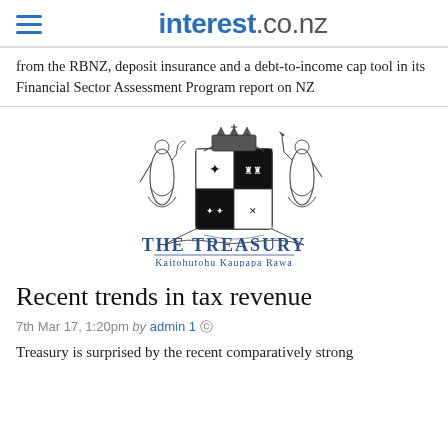interest.co.nz
from the RBNZ, deposit insurance and a debt-to-income cap tool in its Financial Sector Assessment Program report on NZ
[Figure (logo): New Zealand Treasury coat of arms logo with text 'THE TREASURY' and 'Kaitohutohu Kaupapa Rawa']
Recent trends in tax revenue
7th Mar 17, 1:20pm by admin 1
Treasury is surprised by the recent comparatively strong